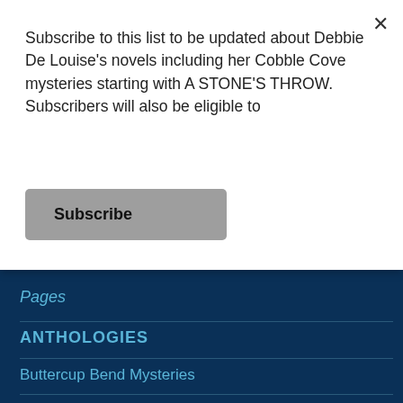Subscribe to this list to be updated about Debbie De Louise's novels including her Cobble Cove mysteries starting with A STONE'S THROW. Subscribers will also be eligible to
Subscribe
[Figure (illustration): Partial view of a book or profile page showing a cream-colored card with horizontal lines, blue semicircle at top, blue background, and dark navy footer section.]
Pages
ANTHOLOGIES
Buttercup Bend Mysteries